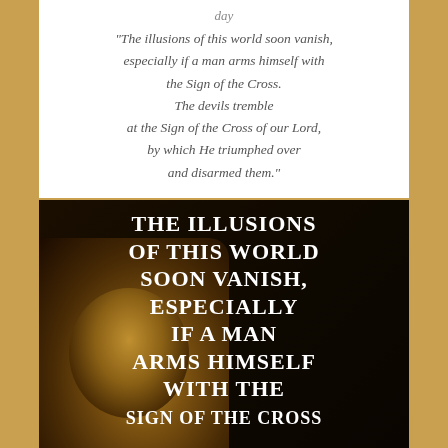day
“The illusions of this world soon vanish, especially if a man arms himself with the Sign of the Cross. The devils tremble at the Sign of the Cross of our Lord, by which He triumphed over and disarmed them.”
[Figure (photo): Dark image of a painted classical portrait (face partially visible at lower left) with large white serif uppercase text overlay reading: THE ILLUSIONS OF THIS WORLD SOON VANISH, ESPECIALLY IF A MAN ARMS HIMSELF WITH THE SIGN OF THE CROSS]